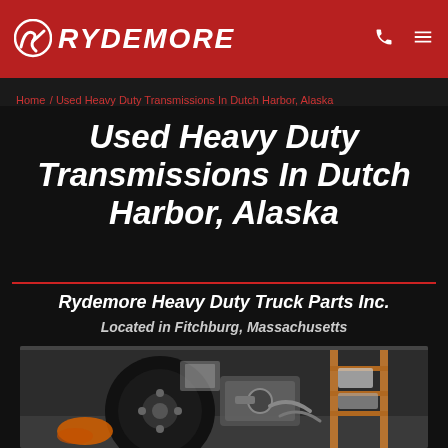RYDEMORE
Home / Used Heavy Duty Transmissions In Dutch Harbor, Alaska
Used Heavy Duty Transmissions In Dutch Harbor, Alaska
Rydemore Heavy Duty Truck Parts Inc.
Located in Fitchburg, Massachusetts
[Figure (photo): Industrial photo showing a large truck transmission/drivetrain component in a warehouse or shop setting with shelving and parts visible in the background]